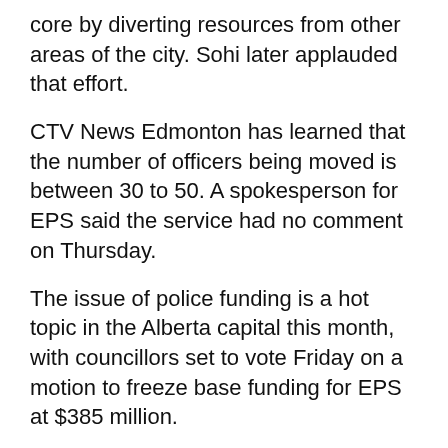core by diverting resources from other areas of the city. Sohi later applauded that effort.
CTV News Edmonton has learned that the number of officers being moved is between 30 to 50. A spokesperson for EPS said the service had no comment on Thursday.
The issue of police funding is a hot topic in the Alberta capital this month, with councillors set to vote Friday on a motion to freeze base funding for EPS at $385 million.
A local criminologist said while Shandro has a right to demand a safety plan, his motivations are suspect, and his letter could be seen as an attempt to influence a council vote.
"I don't see how this positively contributes to